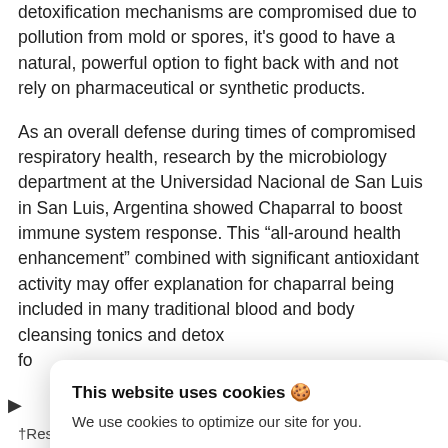detoxification mechanisms are compromised due to pollution from mold or spores, it's good to have a natural, powerful option to fight back with and not rely on pharmaceutical or synthetic products.
As an overall defense during times of compromised respiratory health, research by the microbiology department at the Universidad Nacional de San Luis in San Luis, Argentina showed Chaparral to boost immune system response. This “all-around health enhancement” combined with significant antioxidant activity may offer explanation for chaparral being included in many traditional blood and body cleansing tonics and detox fo...
†Results may vary. Information and statements made are for